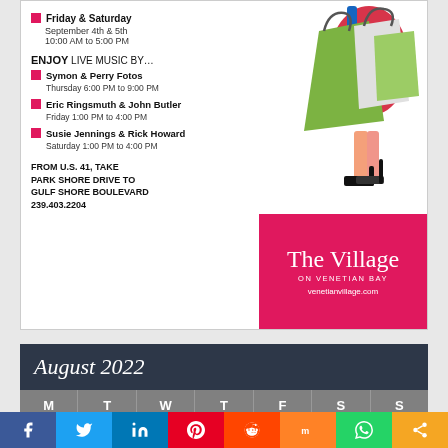[Figure (infographic): Advertisement for The Village on Venetian Bay. Left side lists event dates (Friday & Saturday, September 4th & 5th, 10:00 AM to 5:00 PM) and live music performers (Symon & Perry Fotos Thursday 6:00 PM to 9:00 PM; Eric Ringsmuth & John Butler Friday 1:00 PM to 4:00 PM; Susie Jennings & Rick Howard Saturday 1:00 PM to 4:00 PM). Directions: FROM U.S. 41, TAKE PARK SHORE DRIVE TO GULF SHORE BOULEVARD 239.403.2204. Right side shows a shopping bag illustration and a pink box with 'The Village ON VENETIAN BAY venetianvillage.com'.]
| M | T | W | T | F | S | S |
| --- | --- | --- | --- | --- | --- | --- |
| 1 | 2 | 3 | 4 | 5 | 6 | 7 |
[Figure (infographic): Social media sharing bar with buttons for Facebook, Twitter, LinkedIn, Pinterest, Reddit, Mix, WhatsApp, and More.]